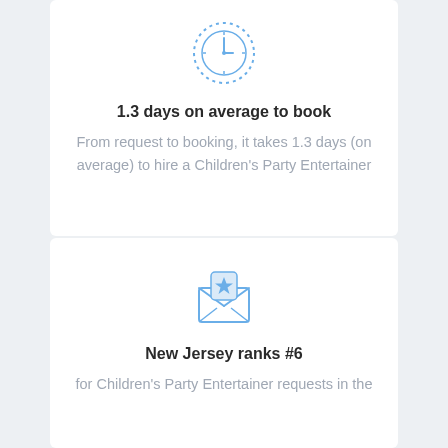[Figure (illustration): Blue clock icon with dotted border circle]
1.3 days on average to book
From request to booking, it takes 1.3 days (on average) to hire a Children's Party Entertainer
[Figure (illustration): Blue envelope with star badge icon]
New Jersey ranks #6
for Children's Party Entertainer requests in the